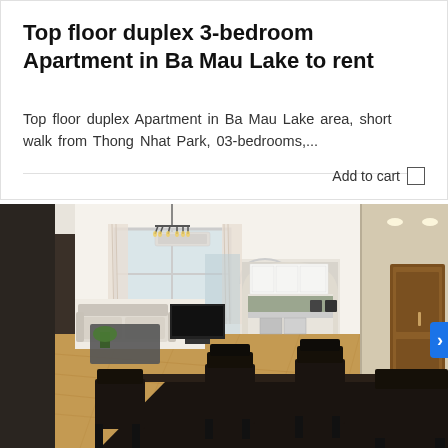Top floor duplex 3-bedroom Apartment in Ba Mau Lake to rent
Top floor duplex Apartment in Ba Mau Lake area, short walk from Thong Nhat Park, 03-bedrooms,...
Add to cart
[Figure (photo): Interior photo of a modern apartment showing a large open-plan living and dining room with dark wood dining table and chairs in the foreground, sofa and TV in the background on the left, white kitchen visible through an archway in the center, and a hallway with wooden door on the right. Wood laminate flooring, chandelier ceiling light, and air conditioning unit visible.]